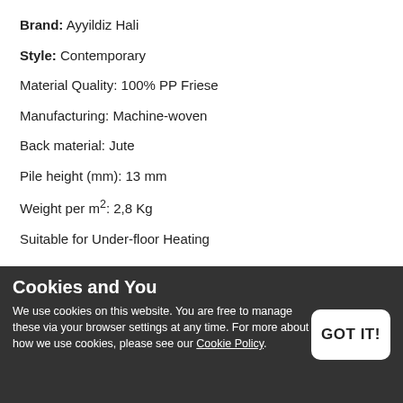Brand: Ayyildiz Hali
Style: Contemporary
Material Quality: 100% PP Friese
Manufacturing: Machine-woven
Back material: Jute
Pile height (mm): 13 mm
Weight per m²: 2,8 Kg
Suitable for Under-floor Heating
Eco-Tex Standard 100
Free Delivery
14 days Return right
Money Back Guarantee
Cookies and You
We use cookies on this website. You are free to manage these via your browser settings at any time. For more about how we use cookies, please see our Cookie Policy.
GOT IT!